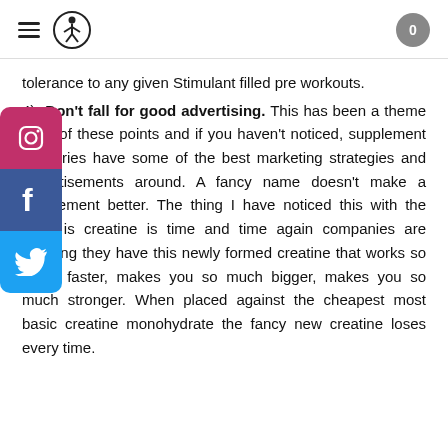Navigation header with hamburger menu, logo, and cart (0)
tolerance to any given Stimulant filled pre workouts.
4) Don't fall for good advertising. This has been a theme in all of these points and if you haven't noticed, supplement industries have some of the best marketing strategies and advertisements around. A fancy name doesn't make a supplement better. The thing I have noticed this with the most is creatine is time and time again companies are claiming they have this newly formed creatine that works so much faster, makes you so much bigger, makes you so much stronger. When placed against the cheapest most basic creatine monohydrate the fancy new creatine loses every time.